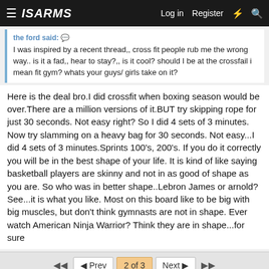ISARMS — Log in | Register
the ford said: [quote icon] I was inspired by a recent thread,, cross fit people rub me the wrong way.. is it a fad,, hear to stay?,, is it cool? should I be at the crossfail i mean fit gym? whats your guys/ girls take on it?
Here is the deal bro.I did crossfit when boxing season would be over.There are a million versions of it.BUT try skipping rope for just 30 seconds. Not easy right? So I did 4 sets of 3 minutes. Now try slamming on a heavy bag for 30 seconds. Not easy...I did 4 sets of 3 minutes.Sprints 100's, 200's. If you do it correctly you will be in the best shape of your life. It is kind of like saying basketball players are skinny and not in as good of shape as you are. So who was in better shape..Lebron James or arnold? See...it is what you like. Most on this board like to be big with big muscles, but don't think gymnasts are not in shape. Ever watch American Ninja Warrior? Think they are in shape...for sure
◄◄  ◄ Prev  2 of 3  Next ►  ►►